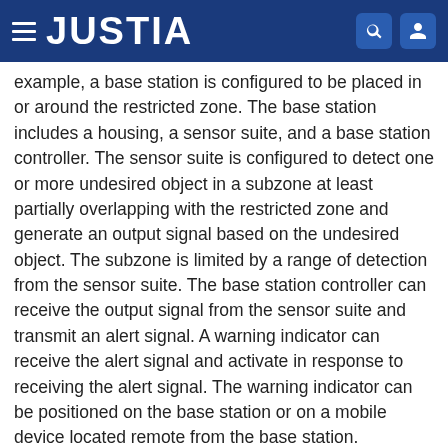JUSTIA
example, a base station is configured to be placed in or around the restricted zone. The base station includes a housing, a sensor suite, and a base station controller. The sensor suite is configured to detect one or more undesired object in a subzone at least partially overlapping with the restricted zone and generate an output signal based on the undesired object. The subzone is limited by a range of detection from the sensor suite. The base station controller can receive the output signal from the sensor suite and transmit an alert signal. A warning indicator can receive the alert signal and activate in response to receiving the alert signal. The warning indicator can be positioned on the base station or on a mobile device located remote from the base station.
Type: Grant
Filed: October 1, 2019